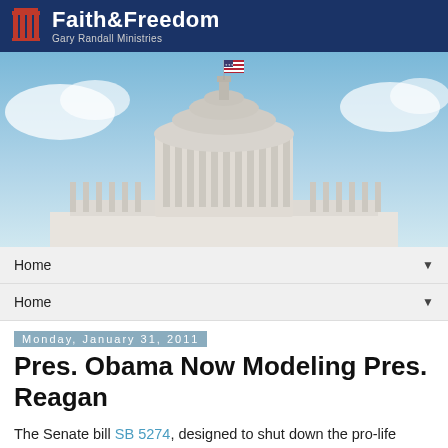[Figure (logo): Faith & Freedom - Gary Randall Ministries logo with blue header bar and column icon]
[Figure (photo): Photo of the United States Capitol building dome with American flag and blue sky with clouds]
Home ▼
Home ▼
Monday, January 31, 2011
Pres. Obama Now Modeling Pres. Reagan
The Senate bill SB 5274, designed to shut down the pro-life Pregnancy Centers, will hold a public hearing this